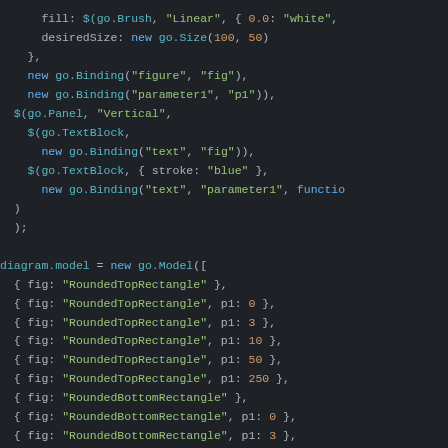[Figure (screenshot): Code snippet showing GoJS diagram configuration with go.Binding, go.Panel, go.TextBlock calls, and diagram.model assignment with an array of node data objects including fig and p1 properties.]